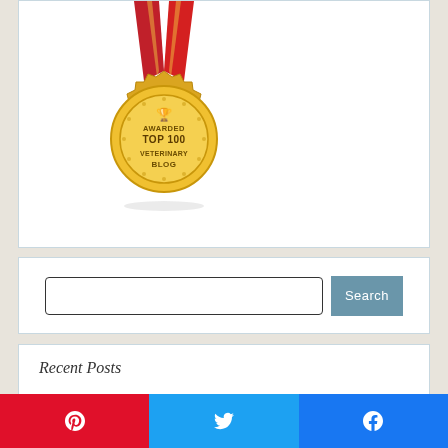[Figure (illustration): Gold award medal with red and gold ribbon at top, reading 'AWARDED TOP 100 VETERINARY BLOG' with a trophy icon. Serifed award badge shape with decorative edge.]
[Figure (other): Search bar widget: text input field with rounded rectangle border and a blue-grey 'Search' button to the right.]
Recent Posts
[Figure (other): Social share bar with three buttons: Pinterest (red), Twitter (blue), Facebook (blue), each with respective icon.]